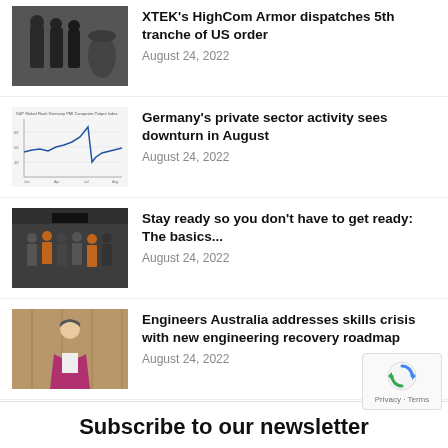[Figure (photo): Dark photo of people in tactical/armor gear near large barrels or containers]
XTEK's HighCom Armor dispatches 5th tranche of US order
August 24, 2022
[Figure (line-chart): S&P Global Flash Germany PMI Composite Output Index line chart showing downturn]
Germany's private sector activity sees downturn in August
August 24, 2022
[Figure (photo): Group photo of people in a workshop or facility, some in orange vests]
Stay ready so you don't have to get ready: The basics...
August 24, 2022
[Figure (photo): Professional woman in magenta/pink blazer standing in front of wooden background]
Engineers Australia addresses skills crisis with new engineering recovery roadmap
August 24, 2022
Subscribe to our newsletter